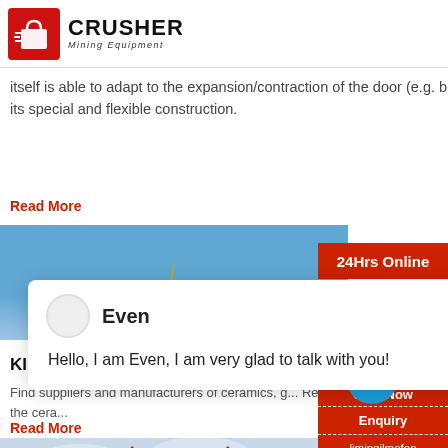CRUSHER Mining Equipment
itself is able to adapt to the expansion/contraction of the door (e.g. because of thermal expansion), due its special and flexible construction.
Read More
[Figure (photo): Blue sky background with golden spire/tower structure]
24Hrs Online
Even
Hello, I am Even, I am very glad to talk with you!
KILN, Pusher | Data Book & Buyers
Find suppliers and manufacturers of ceramics, g... Refractories, brick and KILN, Pusher in the cera...
Read More
[Figure (photo): Industrial facility with large cylindrical tanks, red structural supports, and cloudy sky]
Need & sugg... 1 Chat Now
Enquiry
limingjlmofen@sina.com